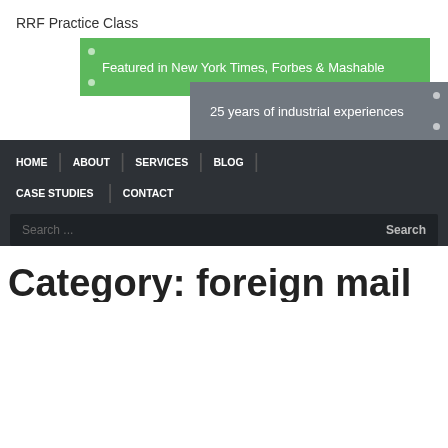RRF Practice Class
[Figure (infographic): Two overlapping banner slides: green banner with text 'Featured in New York Times, Forbes & Mashable' and gray banner with text '25 years of industrial experiences']
HOME | ABOUT | SERVICES | BLOG | CASE STUDIES | CONTACT
Search ...  Search
Category: foreign mail